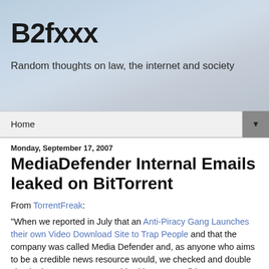B2fxxx
Random thoughts on law, the internet and society
Home ▼
Monday, September 17, 2007
MediaDefender Internal Emails leaked on BitTorrent
From TorrentFreak:
"When we reported in July that an Anti-Piracy Gang Launches their own Video Download Site to Trap People and that the company was called Media Defender and, as anyone who aims to be a credible news resource would, we checked and double checked our sources. We said, with some confidence: